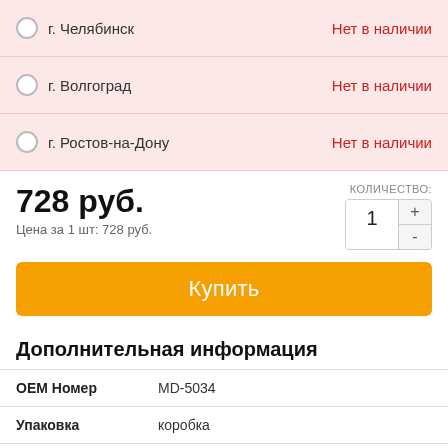г. Челябинск — Нет в наличии
г. Волгоград — Нет в наличии
г. Ростов-на-Дону — Нет в наличии
728 руб.
Цена за 1 шт: 728 руб.
КОЛИЧЕСТВО: 1
Купить
Дополнительная информация
|  |  |
| --- | --- |
| OEM Номер | MD-5034 |
| Упаковка | коробка |
Если вам нужны фильтры и другие запчасти для